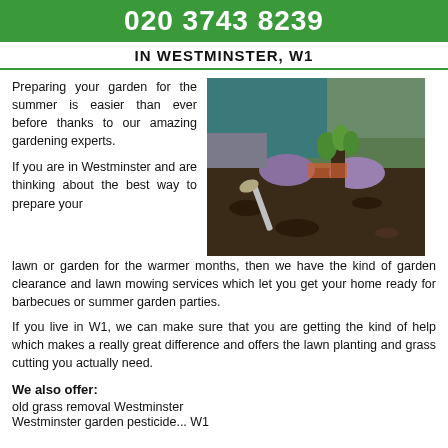020 3743 8239
IN WESTMINSTER, W1
Preparing your garden for the summer is easier than ever before thanks to our amazing gardening experts.
[Figure (photo): Person in teal sweater and purple gloves planting a seedling in dark soil with a trowel nearby.]
If you are in Westminster and are thinking about the best way to prepare your lawn or garden for the warmer months, then we have the kind of garden clearance and lawn mowing services which let you get your home ready for barbecues or summer garden parties.
If you live in W1, we can make sure that you are getting the kind of help which makes a really great difference and offers the lawn planting and grass cutting you actually need.
We also offer:
old grass removal Westminster
Westminster garden pesticide... W1